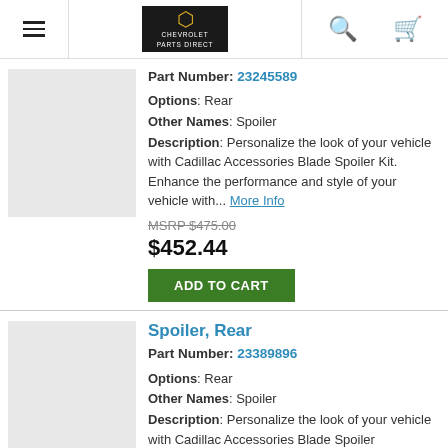Chevrolet Parts Direct - navigation header with hamburger menu, logo, search and cart icons
Part Number: 23245589
Options: Rear
Other Names: Spoiler
Description: Personalize the look of your vehicle with Cadillac Accessories Blade Spoiler Kit. Enhance the performance and style of your vehicle with... More Info
MSRP $475.00
$452.44
ADD TO CART
Spoiler, Rear
Part Number: 23389896
Options: Rear
Other Names: Spoiler
Description: Personalize the look of your vehicle with Cadillac Accessories Blade Spoiler